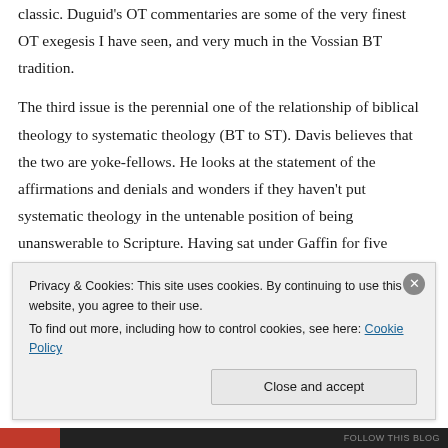classic. Duguid's OT commentaries are some of the very finest OT exegesis I have seen, and very much in the Vossian BT tradition.
The third issue is the perennial one of the relationship of biblical theology to systematic theology (BT to ST). Davis believes that the two are yoke-fellows. He looks at the statement of the affirmations and denials and wonders if they haven't put systematic theology in the untenable position of being unanswerable to Scripture. Having sat under Gaffin for five classes and received about 50% exegesis and 50% systematizing, I can say that, for the Westminster ST faculty, ST is always answerable to Scripture! The WTS faculty would NEVER say that ST equals the Bible.
Privacy & Cookies: This site uses cookies. By continuing to use this website, you agree to their use.
To find out more, including how to control cookies, see here: Cookie Policy